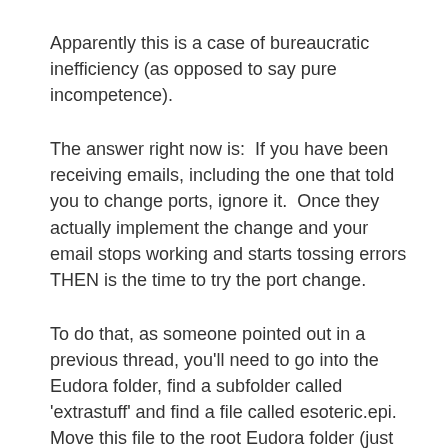Apparently this is a case of bureaucratic inefficiency (as opposed to say pure incompetence).
The answer right now is:  If you have been receiving emails, including the one that told you to change ports, ignore it.  Once they actually implement the change and your email stops working and starts tossing errors THEN is the time to try the port change.
To do that, as someone pointed out in a previous thread, you'll need to go into the Eudora folder, find a subfolder called 'extrastuff' and find a file called esoteric.epi.  Move this file to the root Eudora folder (just up one).  Close the Eudora app and re-open it.  Now when you look in Tools >> Options at the very bottom will be an icon for ports.  You can set values in there.